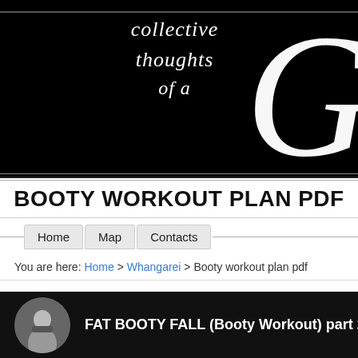[Figure (illustration): Black banner header with script italic text reading 'collective thoughts of a' and a large decorative cursive G on the right side]
BOOTY WORKOUT PLAN PDF
Home  Map  Contacts
You are here: Home > Whangarei > Booty workout plan pdf
[Figure (screenshot): Video thumbnail with circular profile image of a woman and text: FAT BOOTY FALL (Booty Workout) part 2 -Keaira]